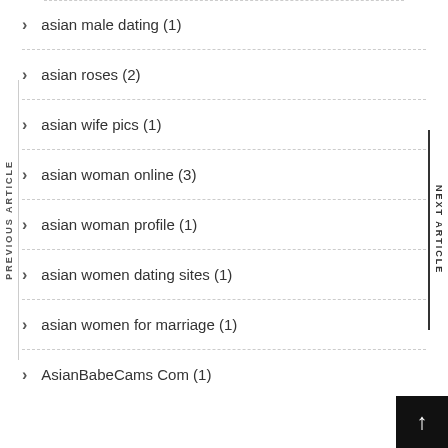asian male dating (1)
asian roses (2)
asian wife pics (1)
asian woman online (3)
asian woman profile (1)
asian women dating sites (1)
asian women for marriage (1)
AsianBabeCams Com (1)